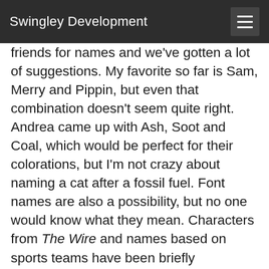Swingley Development
friends for names and we've gotten a lot of suggestions. My favorite so far is Sam, Merry and Pippin, but even that combination doesn't seem quite right. Andrea came up with Ash, Soot and Coal, which would be perfect for their colorations, but I'm not crazy about naming a cat after a fossil fuel. Font names are also a possibility, but no one would know what they mean. Characters from The Wire and names based on sports teams have been briefly considered. Part of the problem is that we're friends with a lot of dog mushers, and that means that almost any name or naming scheme has been used and is associated with a dog or litter. If there wasn't an Alaskan plant litter in Bonnie's yard, those would have been great names (Ledum, Salix, etc.). So we're still working on it.